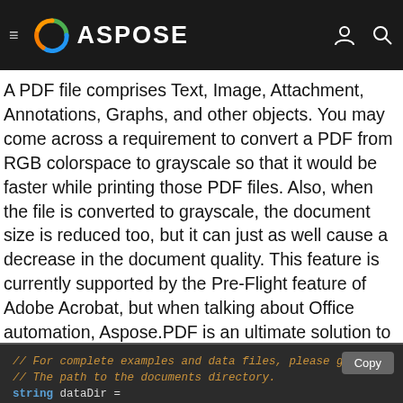ASPOSE
A PDF file comprises Text, Image, Attachment, Annotations, Graphs, and other objects. You may come across a requirement to convert a PDF from RGB colorspace to grayscale so that it would be faster while printing those PDF files. Also, when the file is converted to grayscale, the document size is reduced too, but it can just as well cause a decrease in the document quality. This feature is currently supported by the Pre-Flight feature of Adobe Acrobat, but when talking about Office automation, Aspose.PDF is an ultimate solution to provide such leverages for document manipulations. In order to accomplish this requirement, the following code snippet can be used.
// For complete examples and data files, please g...
// The path to the documents directory.
string dataDir = RunExamples.GetDataDir_AsposePdf_Workin...